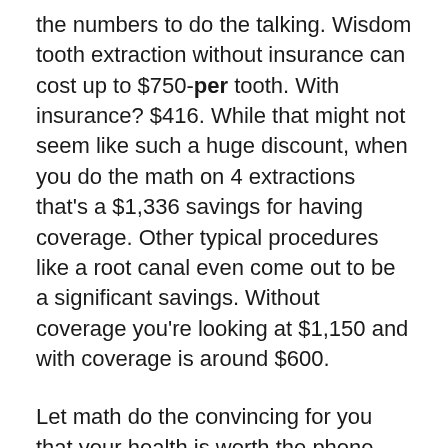the numbers to do the talking. Wisdom tooth extraction without insurance can cost up to $750-per tooth. With insurance? $416. While that might not seem like such a huge discount, when you do the math on 4 extractions that's a $1,336 savings for having coverage. Other typical procedures like a root canal even come out to be a significant savings. Without coverage you're looking at $1,150 and with coverage is around $600.
Let math do the convincing for you that your health is worth the phone call to one of our agents. Speaking to someone is free, and there is no pressure for a sale as we operate under a no obligation mindset. We truly want to help you (YES you!) feel comfortable and feel that your needs will be met. We have always gone times and...